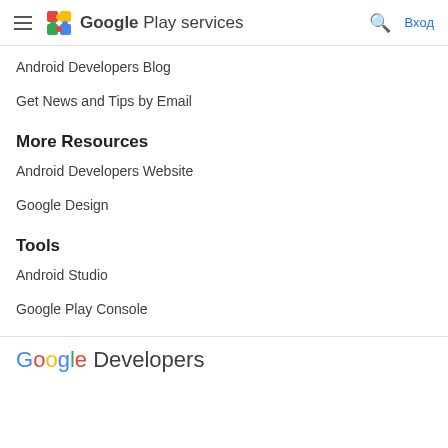Google Play services
Android Developers Blog
Get News and Tips by Email
More Resources
Android Developers Website
Google Design
Tools
Android Studio
Google Play Console
Google Developers